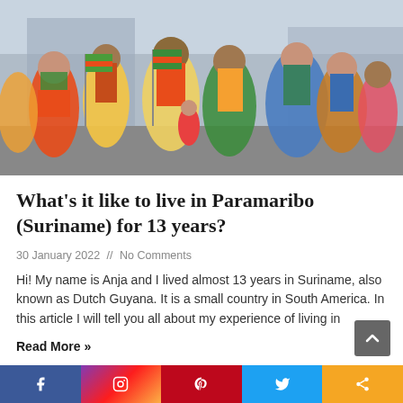[Figure (photo): Crowd of people in colorful traditional Surinamese dress, celebrating with flags during a cultural parade or festival]
What's it like to live in Paramaribo (Suriname) for 13 years?
30 January 2022 // No Comments
Hi! My name is Anja and I lived almost 13 years in Suriname, also known as Dutch Guyana. It is a small country in South America. In this article I will tell you all about my experience of living in
Read More »